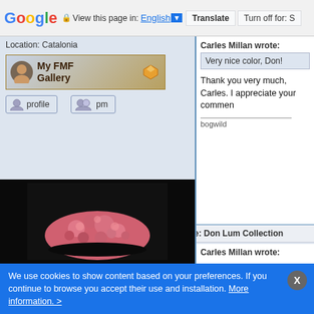Google | View this page in: English | Translate | Turn off for: S
Location: Catalonia
[Figure (screenshot): My FMF Gallery button with mineral thumbnail]
[Figure (screenshot): Profile button with icon]
[Figure (screenshot): PM button with icon]
Back to top
[Figure (screenshot): Write a REPLY button (blue)]
[Figure (screenshot): Reply Quoting this Message button (blue)]
Posted: May 23, 2022 10:35    Post subject: Re: Don Lum Collection
Don Lum
[Figure (photo): Pink mineral specimen (rhodochrosite or similar) on black background]
Carles Millan wrote:
Very nice color, Don!
Thank you very much, Carles. I appreciate your commen
bogwild
We use cookies to show content based on your preferences. If you continue to browse you accept their use and installation. More information. >